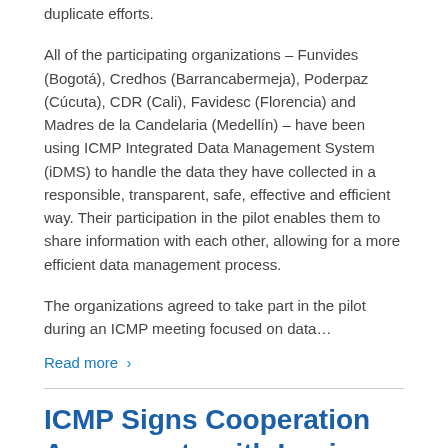duplicate efforts.
All of the participating organizations – Funvides (Bogotá), Credhos (Barrancabermeja), Poderpaz (Cúcuta), CDR (Cali), Favidesc (Florencia) and Madres de la Candelaria (Medellín) – have been using ICMP Integrated Data Management System (iDMS) to handle the data they have collected in a responsible, transparent, safe, effective and efficient way. Their participation in the pilot enables them to share information with each other, allowing for a more efficient data management process.
The organizations agreed to take part in the pilot during an ICMP meeting focused on data…
Read more ›
ICMP Signs Cooperation Agreements with Iraqi